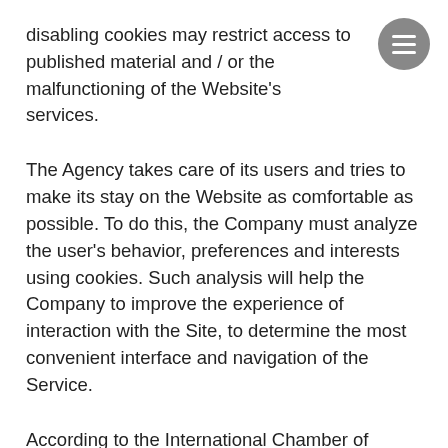disabling cookies may restrict access to published material and / or the malfunctioning of the Website's services.
The Agency takes care of its users and tries to make its stay on the Website as comfortable as possible. To do this, the Company must analyze the user's behavior, preferences and interests using cookies. Such analysis will help the Company to improve the experience of interaction with the Site, to determine the most convenient interface and navigation of the Service.
According to the International Chamber of Commerce classification, the Agency uses the following categories of cookies: